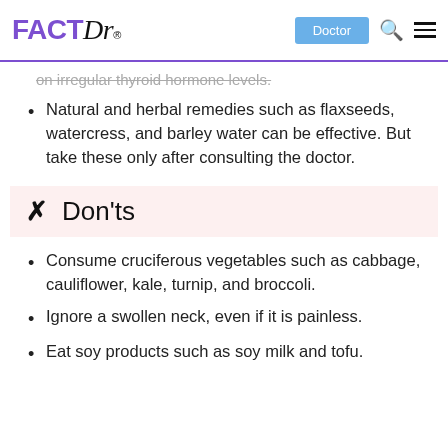FACTDr - Doctor
on irregular thyroid hormone levels.
Natural and herbal remedies such as flaxseeds, watercress, and barley water can be effective. But take these only after consulting the doctor.
✕  Don'ts
Consume cruciferous vegetables such as cabbage, cauliflower, kale, turnip, and broccoli.
Ignore a swollen neck, even if it is painless.
Eat soy products such as soy milk and tofu.